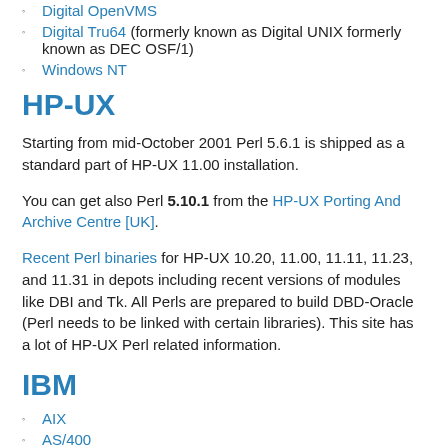Digital OpenVMS
Digital Tru64 (formerly known as Digital UNIX formerly known as DEC OSF/1)
Windows NT
HP-UX
Starting from mid-October 2001 Perl 5.6.1 is shipped as a standard part of HP-UX 11.00 installation.
You can get also Perl 5.10.1 from the HP-UX Porting And Archive Centre [UK].
Recent Perl binaries for HP-UX 10.20, 11.00, 11.11, 11.23, and 11.31 in depots including recent versions of modules like DBI and Tk. All Perls are prepared to build DBD-Oracle (Perl needs to be linked with certain libraries). This site has a lot of HP-UX Perl related information.
IBM
AIX
AS/400
OS/390 (MVS)
SGI IRIX